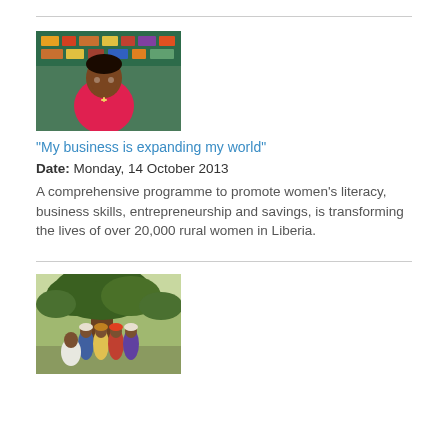[Figure (photo): Woman in pink shirt smiling inside a shop with shelves of goods behind her]
"My business is expanding my world"
Date: Monday, 14 October 2013
A comprehensive programme to promote women’s literacy, business skills, entrepreneurship and savings, is transforming the lives of over 20,000 rural women in Liberia.
[Figure (photo): Group of women gathered under a large tree outdoors]